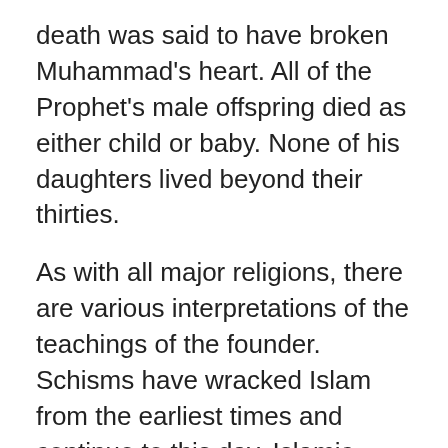death was said to have broken Muhammad's heart. All of the Prophet's male offspring died as either child or baby. None of his daughters lived beyond their thirties.
As with all major religions, there are various interpretations of the teachings of the founder. Schisms have wracked Islam from the earliest times and continue to this day. Islamic fundamentalists would appear to ignore the life of the Prophet and the way in which he respected women. It should also be pointed put that although Muhammad fought wars out of necessity, he was not regarded as either bloodthirsty or a warlord.
It is also worth noting that it was the Prophet Muhammad who banned the practice of female